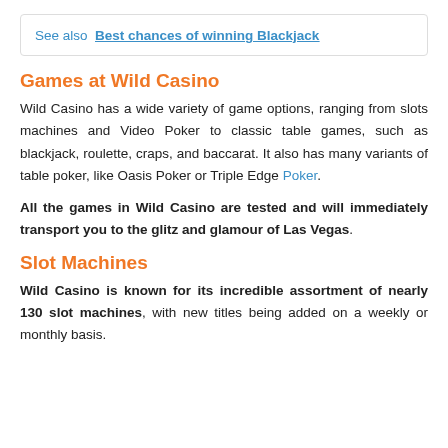See also  Best chances of winning Blackjack
Games at Wild Casino
Wild Casino has a wide variety of game options, ranging from slots machines and Video Poker to classic table games, such as blackjack, roulette, craps, and baccarat. It also has many variants of table poker, like Oasis Poker or Triple Edge Poker.
All the games in Wild Casino are tested and will immediately transport you to the glitz and glamour of Las Vegas.
Slot Machines
Wild Casino is known for its incredible assortment of nearly 130 slot machines, with new titles being added on a weekly or monthly basis.